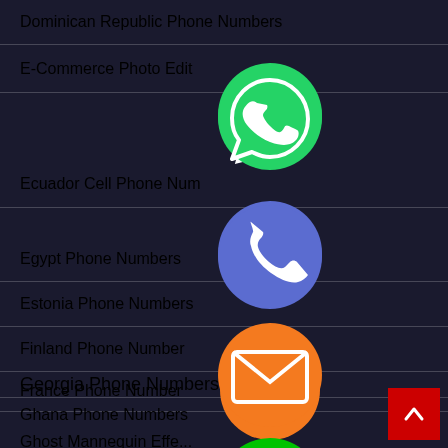Dominican Republic Phone Numbers
E-Commerce Photo Edit
Ecuador Cell Phone Num
Egypt Phone Numbers
Estonia Phone Numbers
Finland Phone Number
France Phone Number
Georgia Phone Numbers
Ghana Phone Numbers
Ghost Mannequin Effe...
[Figure (infographic): Floating social media and communication app icons: WhatsApp (green), phone/call (blue-purple), email/envelope (orange), LINE (green), Viber (purple), close/X (green). Also a red back-to-top button with up arrow.]